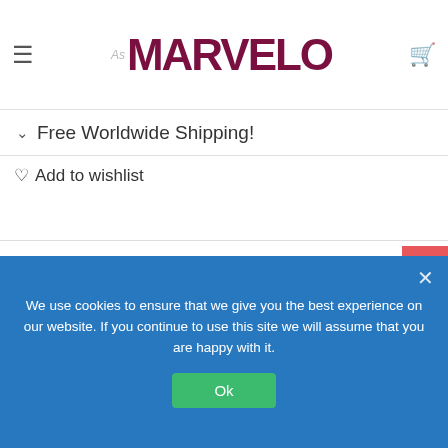MARVELO
Free Worldwide Shipping!
Add to wishlist
DESCRIPTION
The Auto Ceramic Hair Curler is the perfect high-tech hair-
We use cookies to ensure that we give you the best experience on our website. If you continue to use this site we will assume that you are happy with it. Ok